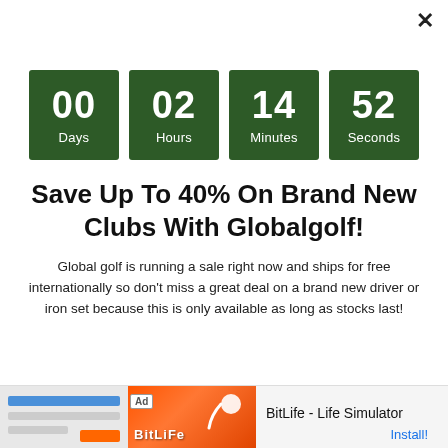[Figure (infographic): Countdown timer showing 00 Days, 02 Hours, 14 Minutes, 52 Seconds on dark green square tiles]
Save Up To 40% On Brand New Clubs With Globalgolf!
Global golf is running a sale right now and ships for free internationally so don't miss a great deal on a brand new driver or iron set because this is only available as long as stocks last!
[Figure (screenshot): Mobile advertisement banner for BitLife - Life Simulator app with Install button]